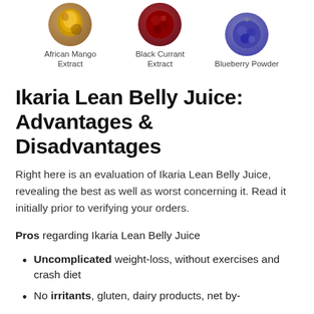[Figure (illustration): Three circular cropped images of ingredients: African Mango Extract, Black Currant Extract, Blueberry Powder, each shown with a label beneath]
Ikaria Lean Belly Juice: Advantages & Disadvantages
Right here is an evaluation of Ikaria Lean Belly Juice, revealing the best as well as worst concerning it. Read it initially prior to verifying your orders.
Pros regarding Ikaria Lean Belly Juice
Uncomplicated weight-loss, without exercises and crash diet
No irritants, gluten, dairy products, net by-